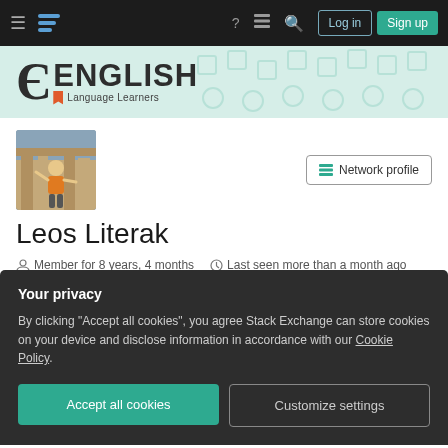Stack Exchange - English Language Learners navigation bar with Log in and Sign up buttons
[Figure (logo): English Language Learners Stack Exchange site logo with epsilon symbol and orange bookmark]
[Figure (photo): Profile photo of Leos Literak, a man waving in front of ancient ruins]
Network profile
Leos Literak
Member for 8 years, 4 months
Last seen more than a month ago
literak.eu  Prague, Czech Republic
Your privacy
By clicking "Accept all cookies", you agree Stack Exchange can store cookies on your device and disclose information in accordance with our Cookie Policy.
Accept all cookies
Customize settings